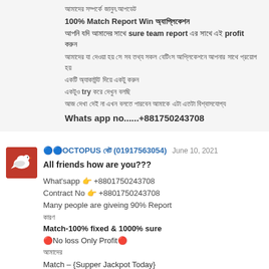আমাদের সম্পর্কে জানুন.আপডেট
100% Match Report Win অ্যাপ্লিকেশন
আপনি যদি আমাদের সাথে sure team report এর সাথে এই profit করুন
আমাদের যা দেওয়া হয় সে সব তথ্য সকল বেটিংস আপ্লিকেশনে আপনার সাথে প্রয়োগ হয়
একটি অ্যাকাউন্ট দিয়ে একটু করুন
একটুও try করে দেখুন বলছি
আজ দেখা দেই না এখন বলতে পারবেন আমাকে এটা এতটা বিশ্বাসযোগ্য
Whats app no......+881750243708
🔵🔵OCTOPUS বেট (01917563054)  June 10, 2021
All friends how are you???
What'sapp 👉 +8801750243708
Contract No 👉 +8801750243708
Many people are giveing 90% Report
কারণ
Match-100% fixed & 1000% sure
🔴No loss Only Profit🔴
আমাদের
Match – {Supper Jackpot Today}